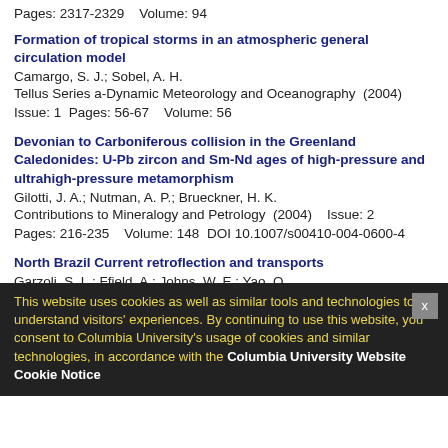Pages: 2317-2329    Volume: 94
Formation of tropical storms in an atmospheric general circulation model
Camargo, S. J.; Sobel, A. H.
Tellus Series a-Dynamic Meteorology and Oceanography  (2004)
Issue: 1  Pages: 56-67    Volume: 56
Devonian to Carboniferous collision in the Greenland Caledonides: U-Pb zircon and Sm-Nd ages of high-pressure and ultrahigh-pressure metamorphism
Gilotti, J. A.; Nutman, A. P.; Brueckner, H. K.
Contributions to Mineralogy and Petrology  (2004)    Issue: 2
Pages: 216-235    Volume: 148  DOI 10.1007/s00410-004-0600-4
North Brazil Current retroflection and transports
Garzoli, S. L.; Ffield, A.; Johns, W. E.; Yao, Q.
Journal of Geophysical Research-Oceans  (2004)    Issue: C1
Pages: -    Volume: 109  DOI 10.1029/2003jc001775
2003
Cookie notice overlay: This website uses cookies as well as similar tools and technologies to understand visitors' experiences. By continuing to use this website, you consent to Columbia University's usage of cookies and similar technologies, in accordance with the Columbia University Website Cookie Notice